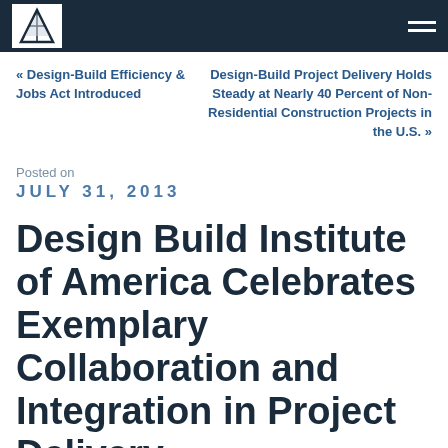Design Build Institute of America – site header with logo and navigation
« Design-Build Efficiency & Jobs Act Introduced
Design-Build Project Delivery Holds Steady at Nearly 40 Percent of Non-Residential Construction Projects in the U.S. »
Posted on
JULY 31, 2013
Design Build Institute of America Celebrates Exemplary Collaboration and Integration in Project Delivery